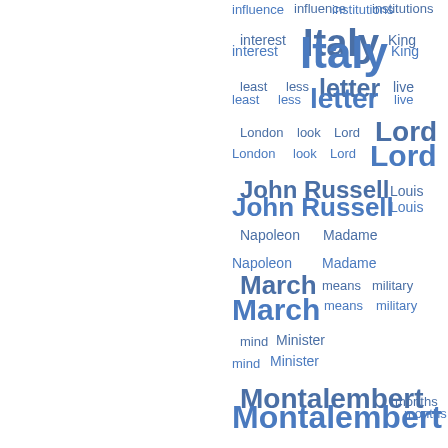[Figure (other): Word cloud showing frequency of terms from a historical text. Words shown in blue at varying sizes indicating frequency: Italy (largest), Lord John Russell, letter, March, Montalembert, political, Paris, Senior, never, never, political are among the larger words. Smaller words include influence, institutions, interest, King, least, less, live, London, look, Lord, Louis Napoleon, Madame, means, military, mind, Minister, months, object, opinion, opposition, party, passed, peace, perhaps, persons, popular, Préfet, present, probably, published, Republic, respect, Russia, seems, society, soon, speech, success, suppose, talked.]